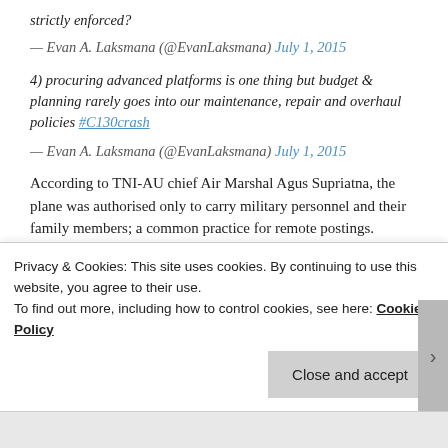strictly enforced?
— Evan A. Laksmana (@EvanLaksmana) July 1, 2015
4) procuring advanced platforms is one thing but budget & planning rarely goes into our maintenance, repair and overhaul policies #C130crash
— Evan A. Laksmana (@EvanLaksmana) July 1, 2015
According to TNI-AU chief Air Marshal Agus Supriatna, the plane was authorised only to carry military personnel and their family members; a common practice for remote postings. Associated Press has reported that 32
Privacy & Cookies: This site uses cookies. By continuing to use this website, you agree to their use.
To find out more, including how to control cookies, see here: Cookie Policy
Close and accept